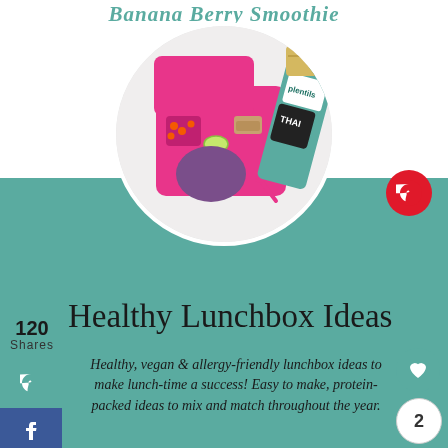Banana Berry Smoothie
[Figure (photo): Circular cropped photo of a pink bento lunchbox with compartments containing vegetables, crackers, and a purple smoothie bowl, alongside packaged food items including 'plentils' Thai chip snacks, on a white background.]
Healthy Lunchbox Ideas
120 Shares
Healthy, vegan & allergy-friendly lunchbox ideas to make lunch-time a success! Easy to make, protein-packed ideas to mix and match throughout the year.